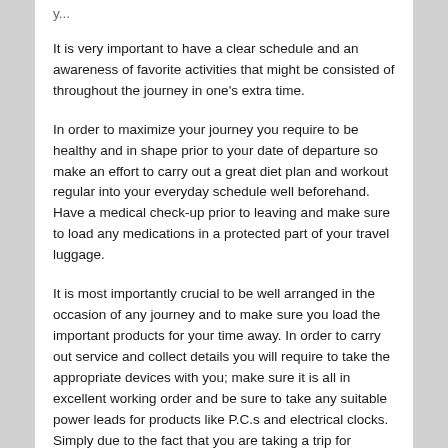It is very important to have a clear schedule and an awareness of favorite activities that might be consisted of throughout the journey in one's extra time.
In order to maximize your journey you require to be healthy and in shape prior to your date of departure so make an effort to carry out a great diet plan and workout regular into your everyday schedule well beforehand. Have a medical check-up prior to leaving and make sure to load any medications in a protected part of your travel luggage.
It is most importantly crucial to be well arranged in the occasion of any journey and to make sure you load the important products for your time away. In order to carry out service and collect details you will require to take the appropriate devices with you; make sure it is all in excellent working order and be sure to take any suitable power leads for products like P.C.s and electrical clocks. Simply due to the fact that you are taking a trip for